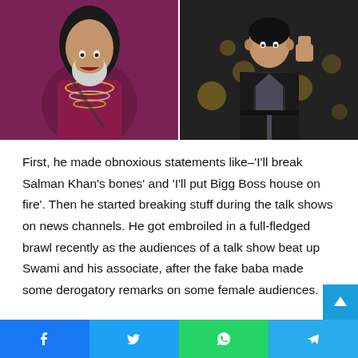[Figure (photo): Two-photo strip: left shows an older man with long hair and beard wearing beads/necklaces in a purple/maroon outfit; right shows a man in a dark suit standing with hand raised]
First, he made obnoxious statements like–'I'll break Salman Khan's bones' and 'I'll put Bigg Boss house on fire'. Then he started breaking stuff during the talk shows on news channels. He got embroiled in a full-fledged brawl recently as the audiences of a talk show beat up Swami and his associate, after the fake baba made some derogatory remarks on some female audiences.
Facebook  Twitter  WhatsApp  Telegram